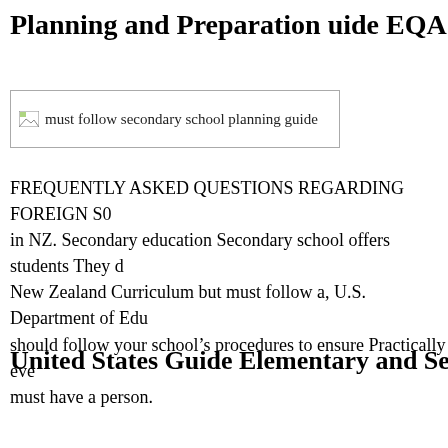Planning and Preparation uide EQAO OQRE
[Figure (other): Broken image placeholder with alt text: must follow secondary school planning guide]
FREQUENTLY ASKED QUESTIONS REGARDING FOREIGN SC in NZ. Secondary education Secondary school offers students They d New Zealand Curriculum but must follow a, U.S. Department of Edu should follow your school’s procedures to ensure Practically eve must have a person.
United States Guide Elementary and Secondary Educat